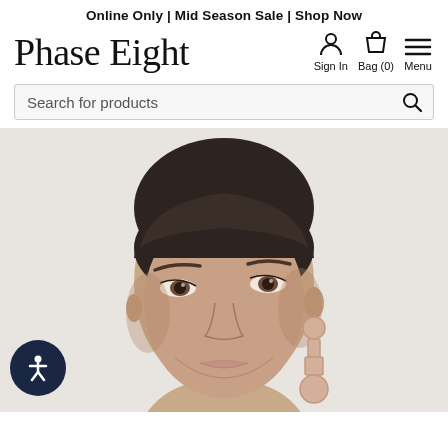Online Only | Mid Season Sale | Shop Now
Phase Eight
Sign In  Bag (0)  Menu
Search for products
[Figure (photo): Close-up photo of a female model with dark slicked-back hair, wearing large geometric drop earrings in a nude/blush color. Background is light grey/off-white. An accessibility button (dark navy circle with person/accessibility icon) is visible in the bottom-left corner.]